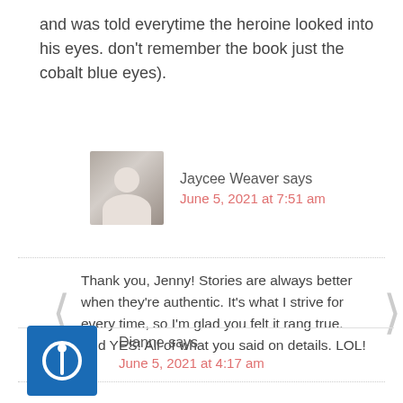and was told everytime the heroine looked into his eyes. don't remember the book just the cobalt blue eyes).
Jaycee Weaver says
June 5, 2021 at 7:51 am
Thank you, Jenny! Stories are always better when they're authentic. It's what I strive for every time, so I'm glad you felt it rang true. And YES! All of what you said on details. LOL!
Dianne says
June 5, 2021 at 4:17 am